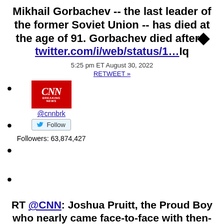Mikhail Gorbachev -- the last leader of the former Soviet Union -- has died at the age of 91. Gorbachev died after◆twitter.com/i/web/status/1…Iq
5:25 pm ET August 30, 2022
RETWEET »
@cnnbrk
Follow
Followers: 63,874,427
RT @CNN: Joshua Pruitt, the Proud Boy who nearly came face-to-face with then-Senate Minority Leader Chuck Schumer during the attack on the…